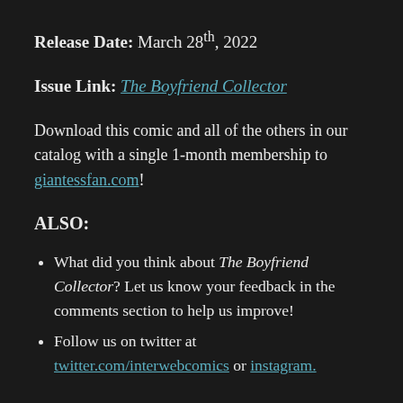Release Date: March 28th, 2022
Issue Link: The Boyfriend Collector
Download this comic and all of the others in our catalog with a single 1-month membership to giantessfan.com!
ALSO:
What did you think about The Boyfriend Collector? Let us know your feedback in the comments section to help us improve!
Follow us on twitter at twitter.com/interwebcomics or instagram.